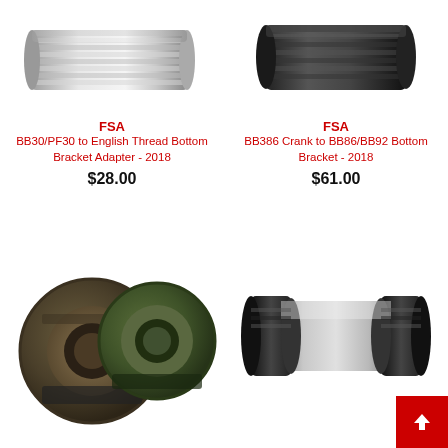[Figure (photo): FSA BB30/PF30 to English Thread Bottom Bracket Adapter - silver cylindrical bike component, cropped top]
FSA
BB30/PF30 to English Thread Bottom Bracket Adapter - 2018
$28.00
[Figure (photo): FSA BB386 Crank to BB86/BB92 Bottom Bracket - black bike component, cropped top]
FSA
BB386 Crank to BB86/BB92 Bottom Bracket - 2018
$61.00
[Figure (photo): Two circular bearing cups in olive/green colors for bike bottom bracket]
[Figure (photo): Black and gray cylindrical bottom bracket component]